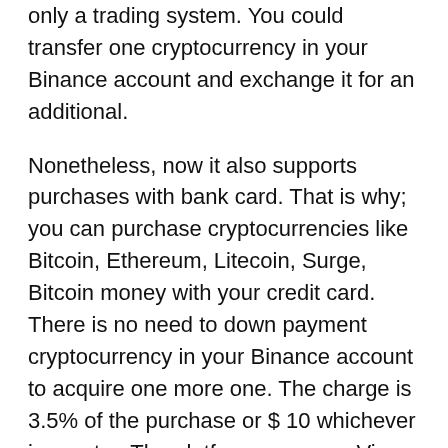only a trading system. You could transfer one cryptocurrency in your Binance account and exchange it for an additional.
Nonetheless, now it also supports purchases with bank card. That is why; you can purchase cryptocurrencies like Bitcoin, Ethereum, Litecoin, Surge, Bitcoin money with your credit card. There is no need to down payment cryptocurrency in your Binance account to acquire one more one. The charge is 3.5% of the purchase or $ 10 whichever is greater. The platform approves Visa in addition to MasterCard.
That is why; getting any kind of cryptocurrency is much easier than ever before with Binance. Whether you look at the bank card buying